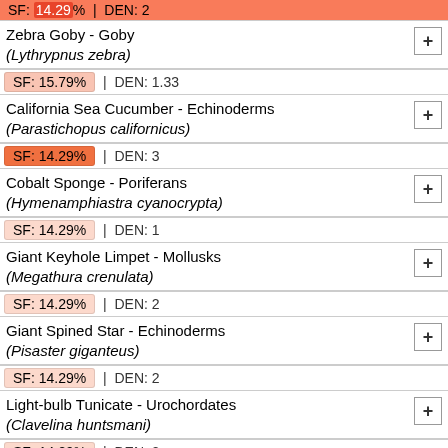SF: [partial] | DEN: 2 (top cut off)
Zebra Goby - Goby (Lythrypnus zebra)
SF: 15.79% | DEN: 1.33
California Sea Cucumber - Echinoderms (Parastichopus californicus)
SF: 14.29% | DEN: 3
Cobalt Sponge - Poriferans (Hymenamphiastra cyanocrypta)
SF: 14.29% | DEN: 1
Giant Keyhole Limpet - Mollusks (Megathura crenulata)
SF: 14.29% | DEN: 2
Giant Spined Star - Echinoderms (Pisaster giganteus)
SF: 14.29% | DEN: 2
Light-bulb Tunicate - Urochordates (Clavelina huntsmani)
SF: 14.29% | DEN: 2
Oarweed - Algae (Laminaria farlowii)